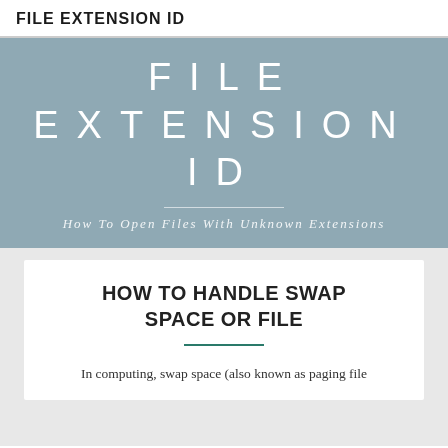FILE EXTENSION ID
[Figure (illustration): Hero banner with steel-blue background, large white spaced-letter text 'FILE EXTENSION ID' on two lines, a horizontal divider, and italic subtitle 'How To Open Files With Unknown Extensions']
HOW TO HANDLE SWAP SPACE OR FILE
In computing, swap space (also known as paging file